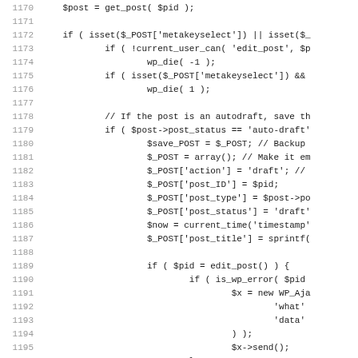[Figure (screenshot): Source code listing showing PHP code for WordPress post editing, lines 1170-1202, with line numbers in gray and code in monospace font.]